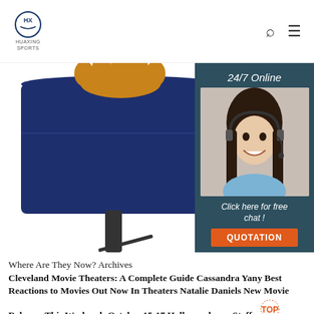HUAXING SPORTS
[Figure (photo): Navy blue sports bag/pouch with golden/tan paw print decoration and black strap, displayed on white background. Partial view shows top portion of bag.]
[Figure (infographic): Advertisement overlay with dark teal background showing '24/7 Online' text, photo of smiling woman with headset, 'Click here for free chat!' text and orange QUOTATION button.]
Where Are They Now? Archives
Cleveland Movie Theaters: A Complete Guide Cassandra Yany Best Reactions to Movies Out Now In Theaters Natalie Daniels New Movie Releases This Weekend: October 15-17 Hollywood.com Staff